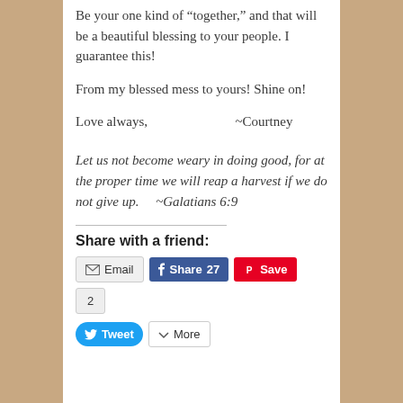Be your one kind of “together,” and that will be a beautiful blessing to your people.  I guarantee this!
From my blessed mess to yours!  Shine on!
Love always,                    ~Courtney
Let us not become weary in doing good, for at the proper time we will reap a harvest if we do not give up.      ~Galatians 6:9
Share with a friend:
Email | Share 27 | Save | 2 | Tweet | More